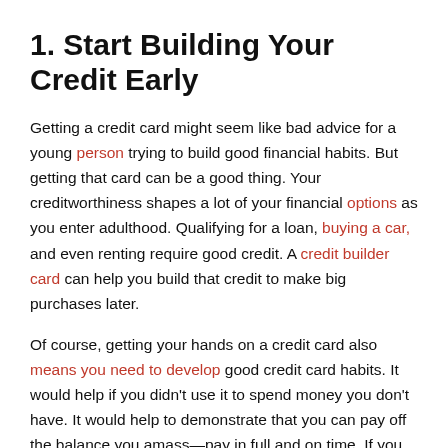1. Start Building Your Credit Early
Getting a credit card might seem like bad advice for a young person trying to build good financial habits. But getting that card can be a good thing. Your creditworthiness shapes a lot of your financial options as you enter adulthood. Qualifying for a loan, buying a car, and even renting require good credit. A credit builder card can help you build that credit to make big purchases later.
Of course, getting your hands on a credit card also means you need to develop good credit card habits. It would help if you didn't use it to spend money you don't have. It would help to demonstrate that you can pay off the balance you amass—pay in full and on time. If you can do this, you're off to a great start financially.